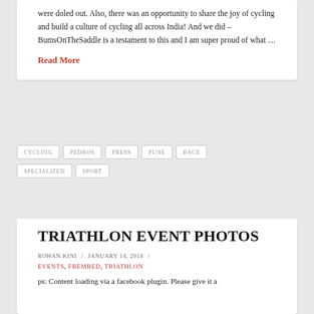were doled out. Also, there was an opportunity to share the joy of cycling and build a culture of cycling all across India! And we did – BumsOnTheSaddle is a testament to this and I am super proud of what …
Read More
CYCLING
PEDROS
PRESS
PUNE
RACE
SPECIALIZED
SPORT
TRIATHLON EVENT PHOTOS
ROHAN KINI / JANUARY 14, 2014 /
EVENTS, FBEMBED, TRIATHLON
ps: Content loading via a facebook plugin. Please give it a